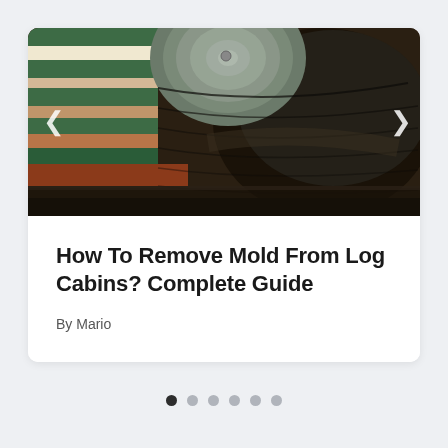[Figure (photo): Close-up photo of a log cabin corner showing a large dark weathered log with green/grey tone at the end, with green and red striped architectural elements visible in the background. Carousel navigation arrows visible on left and right.]
How To Remove Mold From Log Cabins? Complete Guide
By Mario